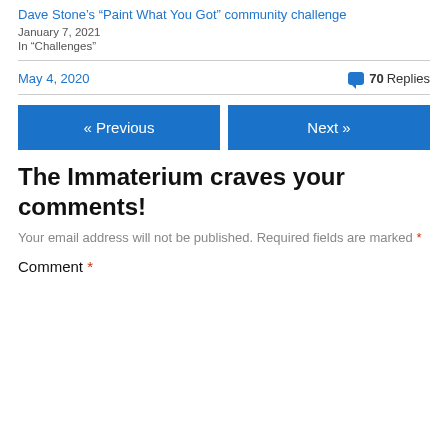Dave Stone's “Paint What You Got” community challenge
January 7, 2021
In “Challenges”
May 4, 2020
70 Replies
« Previous
Next »
The Immaterium craves your comments!
Your email address will not be published. Required fields are marked *
Comment *